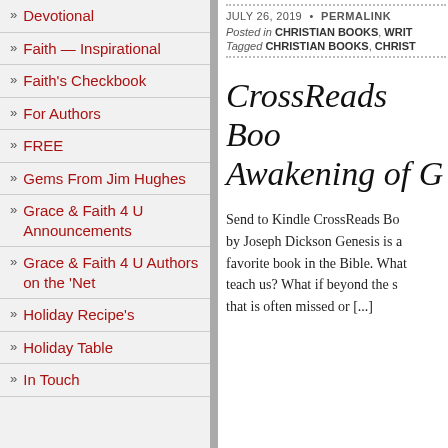» Devotional
» Faith — Inspirational
» Faith's Checkbook
» For Authors
» FREE
» Gems From Jim Hughes
» Grace & Faith 4 U Announcements
» Grace & Faith 4 U Authors on the 'Net
» Holiday Recipe's
» Holiday Table
» In Touch
JULY 26, 2019 • PERMALINK
Posted in CHRISTIAN BOOKS, WRIT...
Tagged CHRISTIAN BOOKS, CHRIST...
CrossReads Boo... Awakening of G...
Send to Kindle CrossReads Bo... by Joseph Dickson Genesis is a... favorite book in the Bible. What... teach us? What if beyond the s... that is often missed or [...]